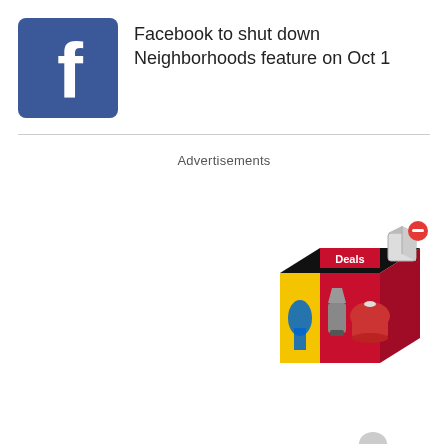[Figure (logo): Facebook logo — blue square with white lowercase f]
Facebook to shut down Neighborhoods feature on Oct 1
Advertisements
[Figure (photo): Advertisement image showing a red box with kitchen appliances (blender, rice cooker) and a Flipkart-style shopping bag logo, with a 3D package icon and red minus button overlay]